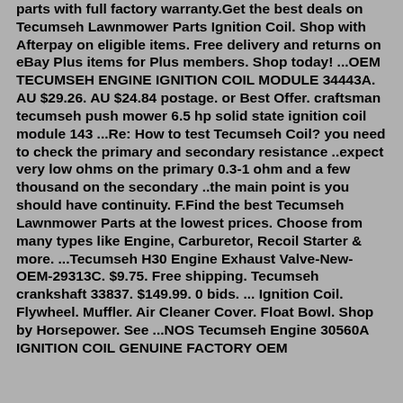parts with full factory warranty.Get the best deals on Tecumseh Lawnmower Parts Ignition Coil. Shop with Afterpay on eligible items. Free delivery and returns on eBay Plus items for Plus members. Shop today! ...OEM TECUMSEH ENGINE IGNITION COIL MODULE 34443A. AU $29.26. AU $24.84 postage. or Best Offer. craftsman tecumseh push mower 6.5 hp solid state ignition coil module 143 ...Re: How to test Tecumseh Coil? you need to check the primary and secondary resistance ..expect very low ohms on the primary 0.3-1 ohm and a few thousand on the secondary ..the main point is you should have continuity. F.Find the best Tecumseh Lawnmower Parts at the lowest prices. Choose from many types like Engine, Carburetor, Recoil Starter & more. ...Tecumseh H30 Engine Exhaust Valve-New-OEM-29313C. $9.75. Free shipping. Tecumseh crankshaft 33837. $149.99. 0 bids. ... Ignition Coil. Flywheel. Muffler. Air Cleaner Cover. Float Bowl. Shop by Horsepower. See ...NOS Tecumseh Engine 30560A IGNITION COIL GENUINE FACTORY OEM